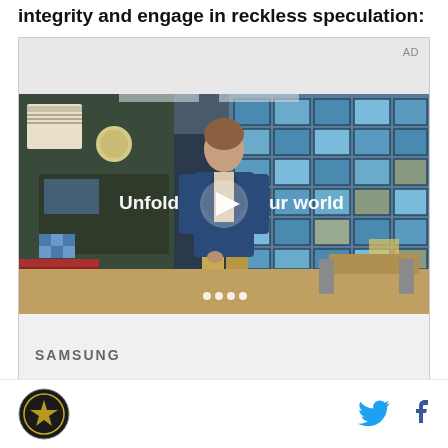integrity and engage in reckless speculation:
[Figure (screenshot): Advertisement video player showing a young man in a denim jacket walking in a cafeteria setting with blue tiled windows in background. Text reads 'Unfold your world' with a play button. AD label in top right corner. Samsung logo partially visible at bottom.]
Site logo icon on left; Twitter and Facebook share icons on right